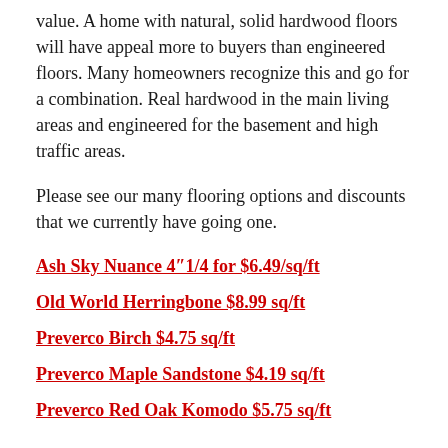value. A home with natural, solid hardwood floors will have appeal more to buyers than engineered floors. Many homeowners recognize this and go for a combination. Real hardwood in the main living areas and engineered for the basement and high traffic areas.
Please see our many flooring options and discounts that we currently have going one.
Ash Sky Nuance 4″1/4 for $6.49/sq/ft
Old World Herringbone $8.99 sq/ft
Preverco Birch $4.75 sq/ft
Preverco Maple Sandstone $4.19 sq/ft
Preverco Red Oak Komodo $5.75 sq/ft